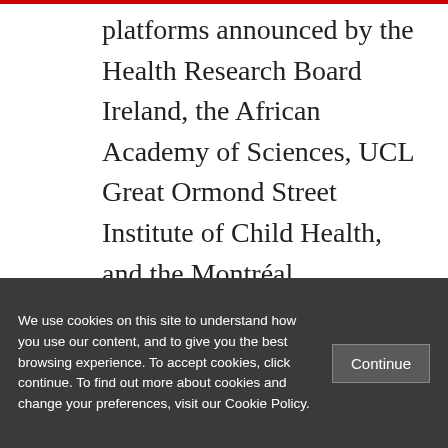platforms announced by the Health Research Board Ireland, the African Academy of Sciences, UCL Great Ormond Street Institute of Child Health, and the Montréal Neurological Institute and Hospital. These platforms remain at various stages of development at the time of writing.

In mid-2017 the European Commission (EC) announced its intention to also provide a
We use cookies on this site to understand how you use our content, and to give you the best browsing experience. To accept cookies, click continue. To find out more about cookies and change your preferences, visit our Cookie Policy.